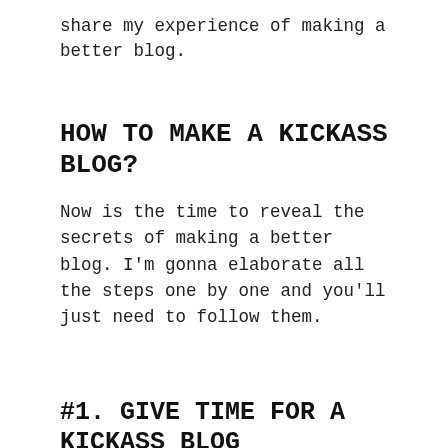share my experience of making a better blog.
HOW TO MAKE A KICKASS BLOG?
Now is the time to reveal the secrets of making a better blog. I'm gonna elaborate all the steps one by one and you'll just need to follow them.
#1. GIVE TIME FOR A KICKASS BLOG